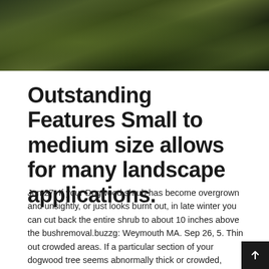[Figure (photo): Photo of dense green and dark shrubby vegetation/bushes viewed from above, dark background with various green tones]
Outstanding Features Small to medium size allows for many landscape applications.
Jun 27, If your Dogwood shrub has become overgrown and unsightly, or just looks burnt out, in late winter you can cut back the entire shrub to about 10 inches above the bushremoval.buzzg: Weymouth MA. Sep 26, 5. Thin out crowded areas. If a particular section of your dogwood tree seems abnormally thick or crowded, select the weakest branches from that spot and cut them back to their point of origin.